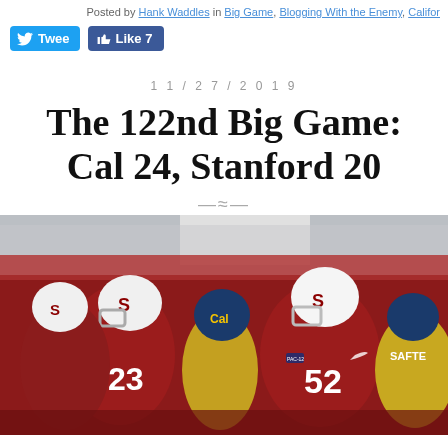Posted by Hank Waddles in Big Game, Blogging With the Enemy, Califor...
Tweet | Like 7
11/27/2019
The 122nd Big Game: Cal 24, Stanford 20
[Figure (photo): Football players from Stanford (red uniforms, white helmets with 'S') and Cal (gold/white uniforms, blue helmets with 'Cal') facing each other on the field, with a crowded stadium in the background. Stanford player #23 and #52 are visible. 'SAFTE' text visible on right side.]